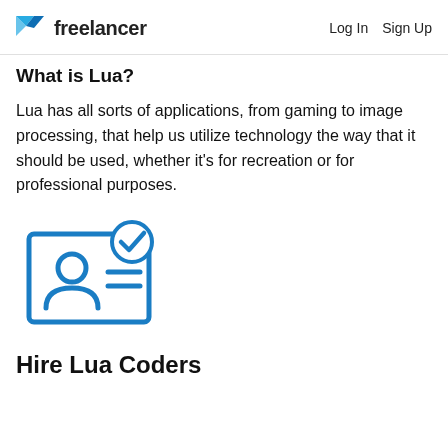freelancer  Log In  Sign Up
What is Lua?
Lua has all sorts of applications, from gaming to image processing, that help us utilize technology the way that it should be used, whether it's for recreation or for professional purposes.
[Figure (illustration): Blue outline icon of a person ID card with a checkmark badge in the top-right corner]
Hire Lua Coders